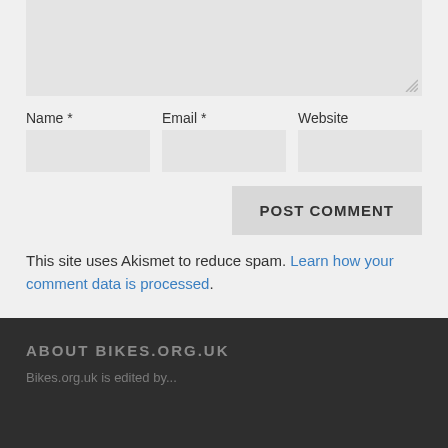[Figure (screenshot): Grey textarea input box with resize handle in bottom-right corner]
Name *
Email *
Website
POST COMMENT
This site uses Akismet to reduce spam. Learn how your comment data is processed.
ABOUT BIKES.ORG.UK
Bikes.org.uk is edited by...